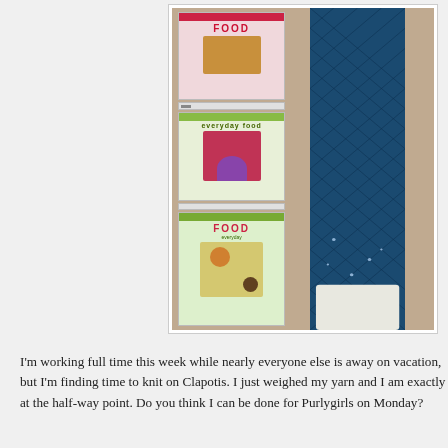[Figure (photo): Photo of two Food Network magazines stacked on a wooden table surface next to a long dark teal/blue knitted scarf (Clapotis knitting project). The magazines show food photography covers including a cupcake and a salad.]
I'm working full time this week while nearly everyone else is away on vacation, but I'm finding time to knit on Clapotis. I just weighed my yarn and I am exactly at the half-way point. Do you think I can be done for Purlygirls on Monday?